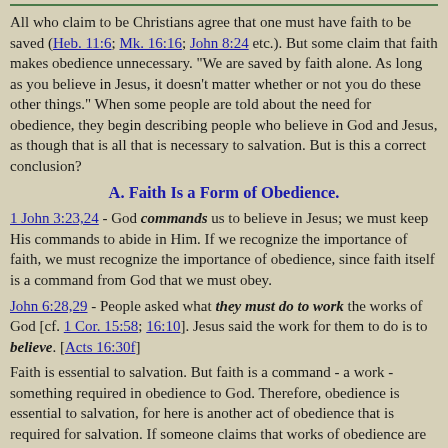All who claim to be Christians agree that one must have faith to be saved (Heb. 11:6; Mk. 16:16; John 8:24 etc.). But some claim that faith makes obedience unnecessary. "We are saved by faith alone. As long as you believe in Jesus, it doesn't matter whether or not you do these other things." When some people are told about the need for obedience, they begin describing people who believe in God and Jesus, as though that is all that is necessary to salvation. But is this a correct conclusion?
A. Faith Is a Form of Obedience.
1 John 3:23,24 - God commands us to believe in Jesus; we must keep His commands to abide in Him. If we recognize the importance of faith, we must recognize the importance of obedience, since faith itself is a command from God that we must obey.
John 6:28,29 - People asked what they must do to work the works of God [cf. 1 Cor. 15:58; 16:10]. Jesus said the work for them to do is to believe. [Acts 16:30f]
Faith is essential to salvation. But faith is a command - a work - something required in obedience to God. Therefore, obedience is essential to salvation, for here is another act of obedience that is required for salvation. If someone claims that works of obedience are not necessary, he is (unintentionally) saying that faith is not necessary. If he then says faith is necessary, he contradicts himself.